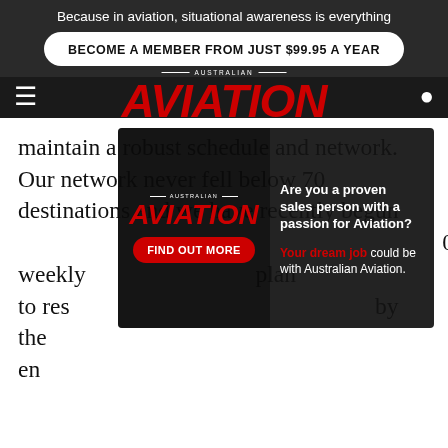Because in aviation, situational awareness is everything
BECOME A MEMBER FROM JUST $99.95 A YEAR
AUSTRALIAN AVIATION
maintain a robust schedule and network. Our network never fell below 70 destinations and we have recently begun [70] weekly [plan to res...] by the en...
[Figure (screenshot): Australian Aviation popup ad asking 'Are you a proven sales person with a passion for Aviation?' with Find Out More button and text 'Your dream job could be with Australian Aviation.']
“Our [...] Qatar Airways [...] ners can rely on now and in the future.”
[Figure (screenshot): QinetiQ banner ad: Enabling critical UAS technologies]